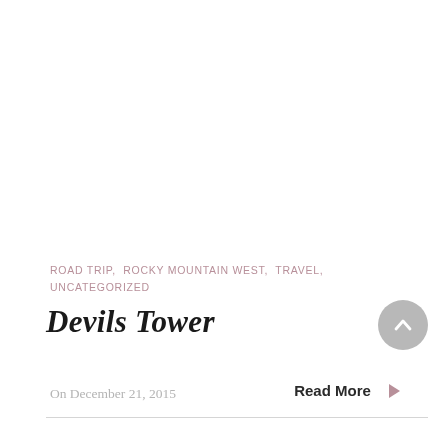ROAD TRIP,  ROCKY MOUNTAIN WEST,  TRAVEL,  UNCATEGORIZED
Devils Tower
On December 21, 2015
Read More ▶